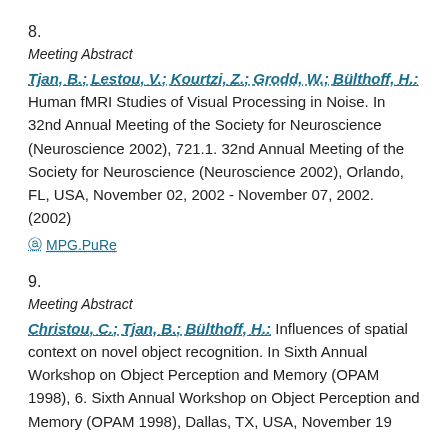8.
Meeting Abstract
Tjan, B.; Lestou, V.; Kourtzi, Z.; Grodd, W.; Bülthoff, H.: Human fMRI Studies of Visual Processing in Noise. In 32nd Annual Meeting of the Society for Neuroscience (Neuroscience 2002), 721.1. 32nd Annual Meeting of the Society for Neuroscience (Neuroscience 2002), Orlando, FL, USA, November 02, 2002 - November 07, 2002. (2002)
MPG.PuRe
9.
Meeting Abstract
Christou, C.; Tjan, B.; Bülthoff, H.: Influences of spatial context on novel object recognition. In Sixth Annual Workshop on Object Perception and Memory (OPAM 1998), 6. Sixth Annual Workshop on Object Perception and Memory (OPAM 1998), Dallas, TX, USA, November 19